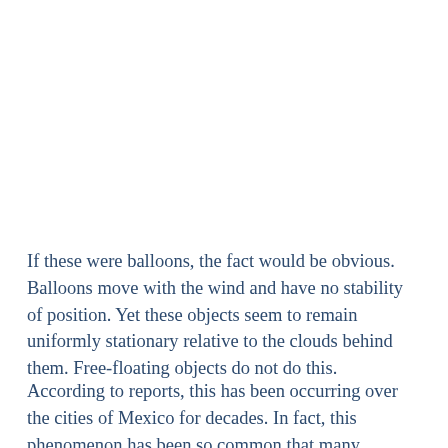If these were balloons, the fact would be obvious. Balloons move with the wind and have no stability of position. Yet these objects seem to remain uniformly stationary relative to the clouds behind them. Free-floating objects do not do this.
According to reports, this has been occurring over the cities of Mexico for decades. In fact, this phenomenon has been so common that many residents sit with cameras in hand, waiting for new sightings to occur. This is an interesting